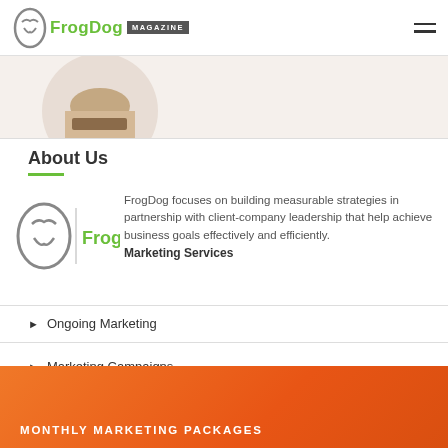FrogDog MAGAZINE
[Figure (photo): Circular cropped photo of a person writing/working, partially visible at top of page]
About Us
[Figure (logo): FrogDog logo with stylized frog icon and green FrogDog wordmark]
FrogDog focuses on building measurable strategies in partnership with client-company leadership that help achieve business goals effectively and efficiently. Marketing Services
Ongoing Marketing
Marketing Campaigns
MONTHLY MARKETING PACKAGES